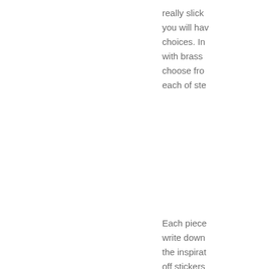really slick you will have choices. In with brass choose from each of ste
Each piece write down the inspirat off stickers and I take p